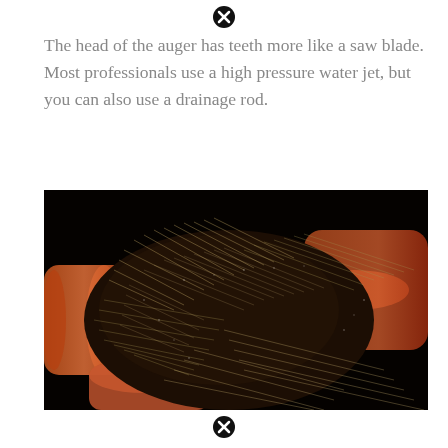[Figure (other): Black circle with X icon at top of page]
The head of the auger has teeth more like a saw blade. Most professionals use a high pressure water jet, but you can also use a drainage rod.
[Figure (photo): Close-up photograph of tree roots infiltrating and clogging an orange/terracotta drainage pipe, against a black background. The roots form a dense mass of fine fibrous strands filling and surrounding the pipe.]
[Figure (other): Black circle with X icon at bottom of page]